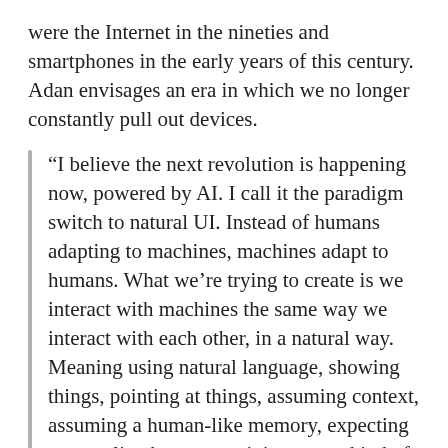were the Internet in the nineties and smartphones in the early years of this century. Adan envisages an era in which we no longer constantly pull out devices.
“I believe the next revolution is happening now, powered by AI. I call it the paradigm switch to natural UI. Instead of humans adapting to machines, machines adapt to humans. What we’re trying to create is we interact with machines the same way we interact with each other, in a natural way. Meaning using natural language, showing things, pointing at things, assuming context, assuming a human-like memory, expecting personality, humour, opinion, some kind of an emotional connection, empathy.
[In future] it is not the device changing, it is the device disappearing. We are not going to interact with devices any more. We are starting to